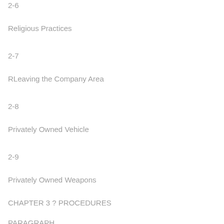2-6
Religious Practices
2-7
RLeaving the Company Area
2-8
Privately Owned Vehicle
2-9
Privately Owned Weapons
CHAPTER 3 ? PROCEDURES
PARAGRAPH
3-1